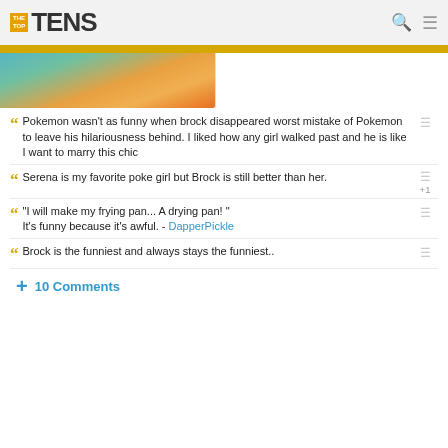THE TOP TENS
[Figure (photo): Cropped anime-style character image with teal, orange, and green colors]
Pokemon wasn't as funny when brock disappeared worst mistake of Pokemon to leave his hilariousness behind. I liked how any girl walked past and he is like I want to marry this chic
Serena is my favorite poke girl but Brock is still better than her.
"I will make my frying pan... A drying pan! " It's funny because it's awful.  - DapperPickle
Brock is the funniest and always stays the funniest..
+ 10 Comments